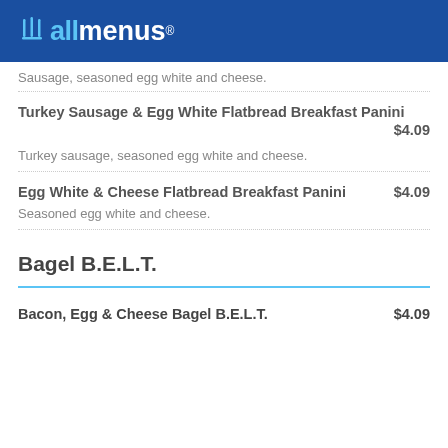allmenus
Sausage, seasoned egg white and cheese.
Turkey Sausage & Egg White Flatbread Breakfast Panini
$4.09
Turkey sausage, seasoned egg white and cheese.
Egg White & Cheese Flatbread Breakfast Panini   $4.09
Seasoned egg white and cheese.
Bagel B.E.L.T.
Bacon, Egg & Cheese Bagel B.E.L.T.   $4.09